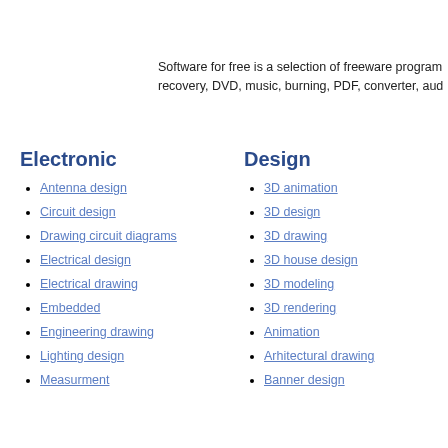Software for free is a selection of freeware program recovery, DVD, music, burning, PDF, converter, aud
Electronic
Antenna design
Circuit design
Drawing circuit diagrams
Electrical design
Electrical drawing
Embedded
Engineering drawing
Lighting design
Measurment
Design
3D animation
3D design
3D drawing
3D house design
3D modeling
3D rendering
Animation
Arhitectural drawing
Banner design